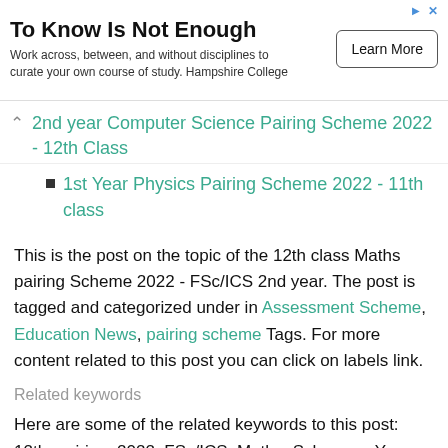[Figure (screenshot): Advertisement banner: 'To Know Is Not Enough' with Learn More button]
2nd year Computer Science Pairing Scheme 2022 - 12th Class
1st Year Physics Pairing Scheme 2022 - 11th class
This is the post on the topic of the 12th class Maths pairing Scheme 2022 - FSc/ICS 2nd year. The post is tagged and categorized under in Assessment Scheme, Education News, pairing scheme Tags. For more content related to this post you can click on labels link.
Related keywords
Here are some of the related keywords to this post: 12th, pairing, 2022, FSc/ICS, Maths, Scheme, - You can give your opinion or any question you have to